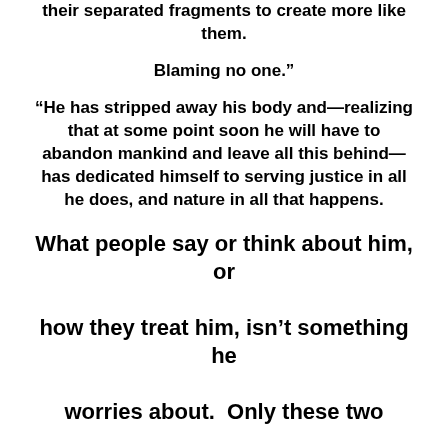their separated fragments to create more like them.
Blaming no one.”
“He has stripped away his body and—realizing that at some point soon he will have to abandon mankind and leave all this behind—has dedicated himself to serving justice in all he does, and nature in all that happens.
What people say or think about him, or how they treat him, isn’t something he worries about.  Only these two